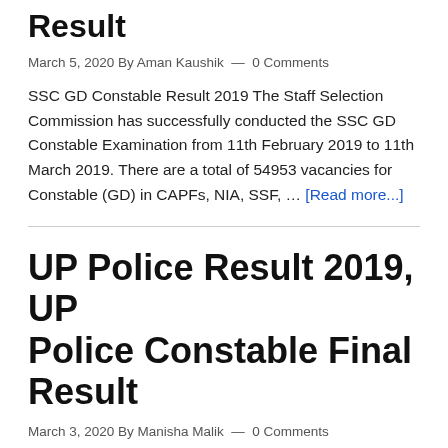Result
March 5, 2020 By Aman Kaushik — 0 Comments
SSC GD Constable Result 2019 The Staff Selection Commission has successfully conducted the SSC GD Constable Examination from 11th February 2019 to 11th March 2019. There are a total of 54953 vacancies for Constable (GD) in CAPFs, NIA, SSF, … [Read more...]
UP Police Result 2019, UP Police Constable Final Result
March 3, 2020 By Manisha Malik — 0 Comments
UP Police Computer Operator Result 2018-19 [Hindi text] 2017 [Hindi text] A [Hindi text]